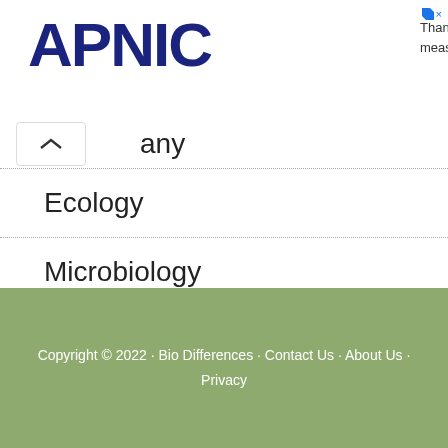[Figure (logo): APNIC logo in dark navy blue bold text]
Thank you for helping us measure the Internet.
any
Ecology
Microbiology
Science
Zoology
Copyright © 2022 · Bio Differences · Contact Us · About Us · Privacy